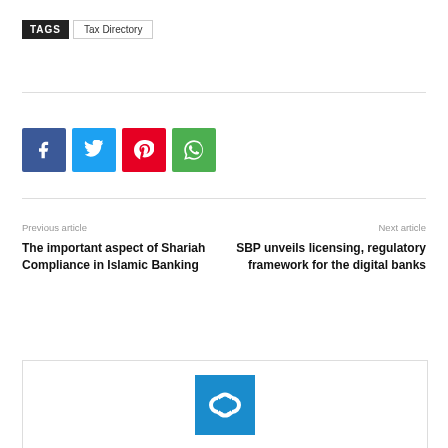TAGS   Tax Directory
[Figure (other): Social share buttons: Facebook (blue), Twitter (light blue), Pinterest (red), WhatsApp (green)]
Previous article
Next article
The important aspect of Shariah Compliance in Islamic Banking
SBP unveils licensing, regulatory framework for the digital banks
[Figure (logo): Author/publication logo in blue square with white icon]